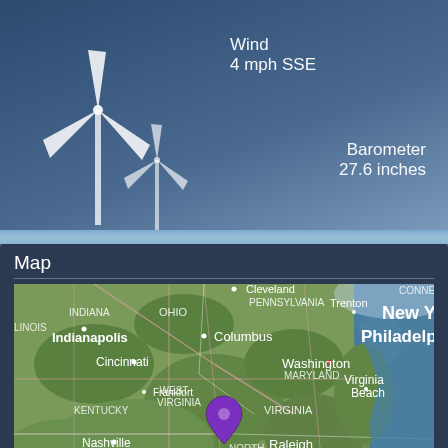[Figure (infographic): Weather app screenshot showing wind turbines silhouette against a dark blue cloudy sky. Wind speed shown as 4 mph SSE, Barometer at 27.6 inches.]
Wind
4 mph SSE
Barometer
27.6 inches
Map
[Figure (map): Satellite map showing eastern United States including states Indiana, Ohio, Pennsylvania, West Virginia, Virginia, Kentucky, Tennessee, North Carolina, South Carolina, Maryland. Cities labeled include Cleveland, Indianapolis, Columbus, Cincinnati, Frankfort, Nashville, Charlotte, Atlanta, Trenton, Washington, Virginia Beach, Raleigh, Philadelphia, New York. A purple location pin is placed in West Virginia/Virginia area. A 'Satellite' label appears in bottom left.]